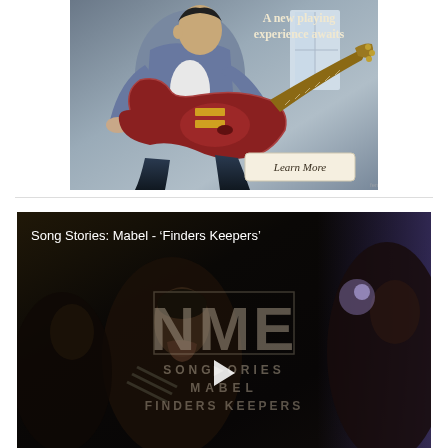[Figure (photo): Advertisement banner showing a guitarist playing an electric guitar, with text 'A new playing experience awaits' and a 'Learn More' button]
[Figure (screenshot): NME video thumbnail for 'Song Stories: Mabel - Finders Keepers' showing people in a dark scene with NME logo overlay, SONG STORIES / MABEL / FINDERS KEEPERS text, and a play button]